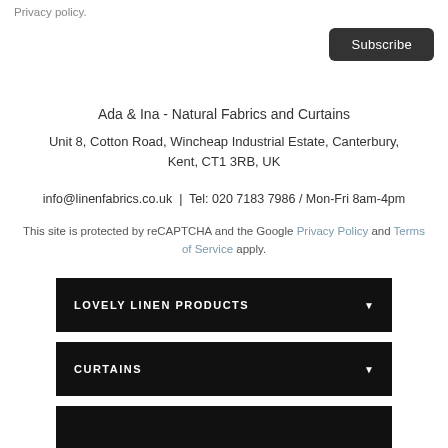Privacy policy.
Subscribe
Ada & Ina - Natural Fabrics and Curtains
Unit 8, Cotton Road, Wincheap Industrial Estate, Canterbury, Kent, CT1 3RB, UK
info@linenfabrics.co.uk  |  Tel: 020 7183 7986 / Mon-Fri 8am-4pm
This site is protected by reCAPTCHA and the Google Privacy Policy and Terms of Service apply.
LOVELY LINEN PRODUCTS
CURTAINS